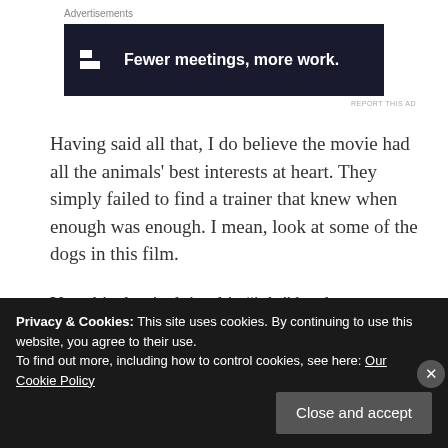Advertisements
[Figure (other): Advertisement banner: dark navy background with a small icon (two rectangles) on the left and bold white text reading 'Fewer meetings, more work.']
REPORT THIS AD
Having said all that, I do believe the movie had all the animals’ best interests at heart. They simply failed to find a trainer that knew when enough was enough. I mean, look at some of the dogs in this film.
Yes, this dog is doing his “job,” but he sure doesn’t
Privacy & Cookies: This site uses cookies. By continuing to use this website, you agree to their use.
To find out more, including how to control cookies, see here: Our Cookie Policy
Close and accept